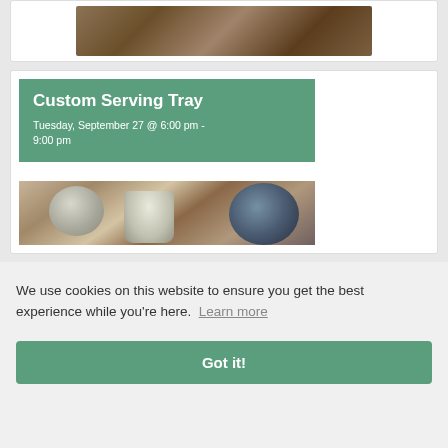[Figure (photo): Top partial image showing a wooden surface or tray, cropped at top of page]
[Figure (infographic): Event card for 'Custom Serving Tray' class with green header showing title and date 'Tuesday, September 27 @ 6:00 pm - 9:00 pm', with a photo below showing a bowl, cup and circular mirror on a wooden surface]
We use cookies on this website to ensure you get the best experience while you're here.  Learn more
Got it!